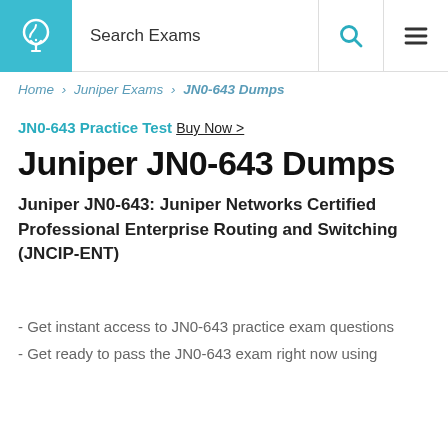Search Exams
Home > Juniper Exams > JN0-643 Dumps
JN0-643 Practice Test Buy Now >
Juniper JN0-643 Dumps
Juniper JN0-643: Juniper Networks Certified Professional Enterprise Routing and Switching (JNCIP-ENT)
- Get instant access to JN0-643 practice exam questions
- Get ready to pass the JN0-643 exam right now using